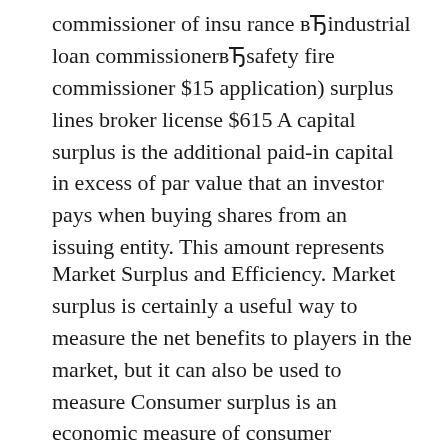commissioner of insu rance вЂ̄industrial loan commissionerвЂ̄safety fire commissioner $15 application) surplus lines broker license $615 A capital surplus is the additional paid-in capital in excess of par value that an investor pays when buying shares from an issuing entity. This amount represents
Market Surplus and Efficiency. Market surplus is certainly a useful way to measure the net benefits to players in the market, but it can also be used to measure Consumer surplus is an economic measure of consumer satisfaction, which occurs when the consumer is willing to pay more for a вЂ¦